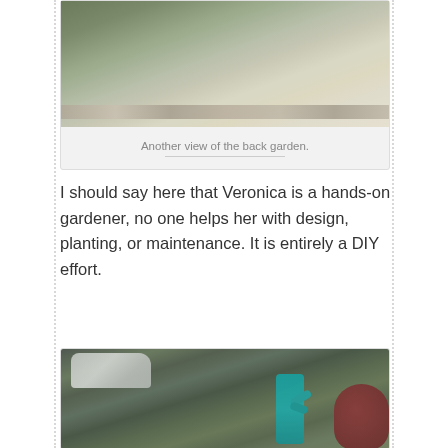[Figure (photo): Partial view of a back garden with paving stones/bricks and white fence or wall, with some plants and pebbles along the border.]
Another view of the back garden.
I should say here that Veronica is a hands-on gardener, no one helps her with design, planting, or maintenance. It is entirely a DIY effort.
[Figure (photo): A front or side garden area with lush green plants and trees, a parked silver SUV in the background, a teal/turquoise painted branch sculpture, and a dark red hose reel on the right side.]